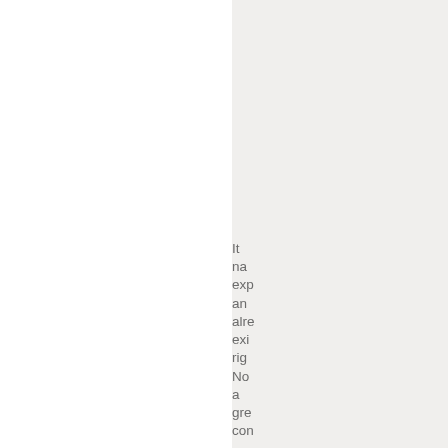It na exp an alre exi rig No a gre con Als Mil wa a shi dec sin